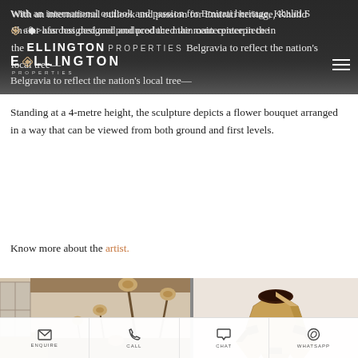With an international outlook and passion for Emirati heritage, Khalid Shafar has designed and produced the main centerpiece in the redesigned Belgravia to reflect the nation's local tree—
[Figure (logo): Ellington Properties logo with diamond icon, white text on dark background]
Standing at a 4-metre height, the sculpture depicts a flower bouquet arranged in a way that can be viewed from both ground and first levels.
Know more about the artist.
[Figure (photo): Photo of tall wooden flower sculptures on stems in an interior space with warm wood tones]
[Figure (photo): Photo of geometric wooden bowl/vase with decorative dark inlay details on white background]
ENQUIRE  CALL  CHAT  WHATSAPP